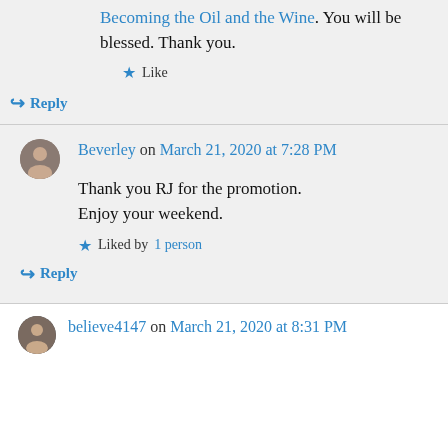Becoming the Oil and the Wine. You will be blessed. Thank you.
Like
Reply
Beverley on March 21, 2020 at 7:28 PM
Thank you RJ for the promotion. Enjoy your weekend.
Liked by 1 person
Reply
believe4147 on March 21, 2020 at 8:31 PM